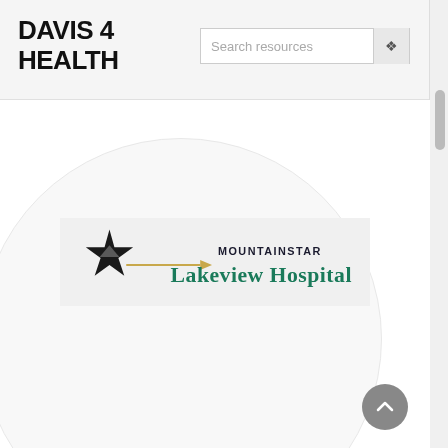DAVIS 4 HEALTH
[Figure (logo): MountainStar Lakeview Hospital logo with a black star and golden arrow on a light grey background]
[Figure (other): Back-to-top button, grey circle with upward caret arrow]